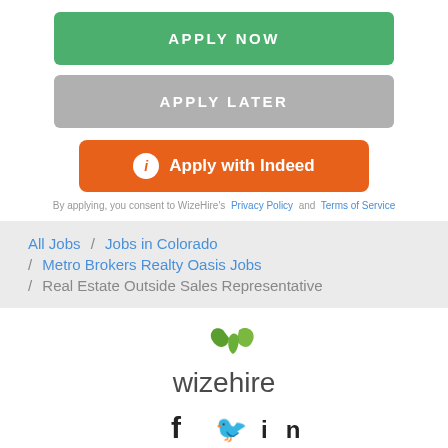APPLY NOW
APPLY LATER
Apply with Indeed
By applying, you consent to WizeHire's  Privacy Policy  and  Terms of Service
All Jobs / Jobs in Colorado
/ Metro Brokers Realty Oasis Jobs
/ Real Estate Outside Sales Representative
[Figure (logo): WizeHire logo with green leaf/bird icon above the text 'wizehire' in dark gray]
Social icons: Facebook, Twitter, LinkedIn